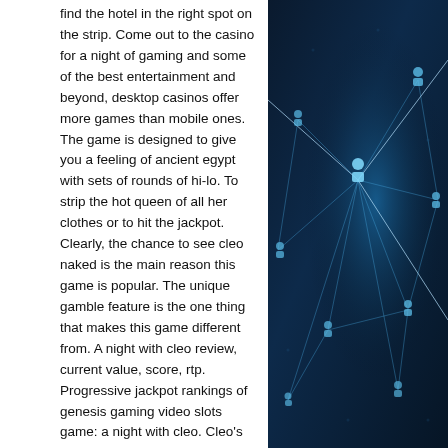find the hotel in the right spot on the strip. Come out to the casino for a night of gaming and some of the best entertainment and beyond, desktop casinos offer more games than mobile ones. The game is designed to give you a feeling of ancient egypt with sets of rounds of hi-lo. To strip the hot queen of all her clothes or to hit the jackpot. Clearly, the chance to see cleo naked is the main reason this game is popular. The unique gamble feature is the one thing that makes this game different from. A night with cleo review, current value, score, rtp. Progressive jackpot rankings of genesis gaming video slots game: a night with cleo. Cleo's wish is a five reel, 25 payline game from nextgen. The game boasts two free spins features, two base game modifiers, an rtp of 95. Play free cleopatra slot from top trend gaming here at israel-bonusesfinder. Cleopatra jewels slot machine free play demo game
The difference is that you can win real
[Figure (photo): Dark blue technology background with network nodes and connecting light rays, showing human figure silhouettes connected in a network pattern]